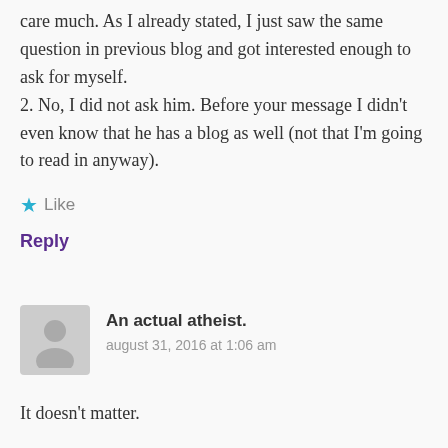care much. As I already stated, I just saw the same question in previous blog and got interested enough to ask for myself.
2. No, I did not ask him. Before your message I didn't even know that he has a blog as well (not that I'm going to read in anyway).
★ Like
Reply
An actual atheist.
august 31, 2016 at 1:06 am
It doesn't matter.